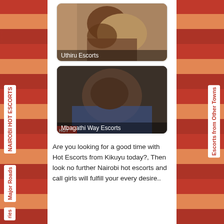[Figure (photo): Photo of Uthiru Escorts with caption overlay]
Uthiru Escorts
[Figure (photo): Photo of Mbagathi Way Escorts with caption overlay]
Mbagathi Way Escorts
Are you looking for a good time with Hot Escorts from Kikuyu today?, Then look no further Nairobi hot escorts and call girls will fulfill your every desire..